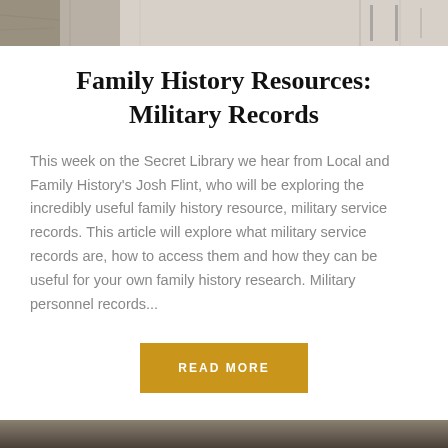[Figure (photo): Cropped historical black and white photograph at the top of the page, partially visible]
Family History Resources: Military Records
This week on the Secret Library we hear from Local and Family History's Josh Flint, who will be exploring the incredibly useful family history resource, military service records. This article will explore what military service records are, how to access them and how they can be useful for your own family history research. Military personnel records...
[Figure (other): Gold/amber colored button with text READ MORE]
[Figure (photo): Partial dark/grayscale historical photograph at the bottom of the page, partially visible]